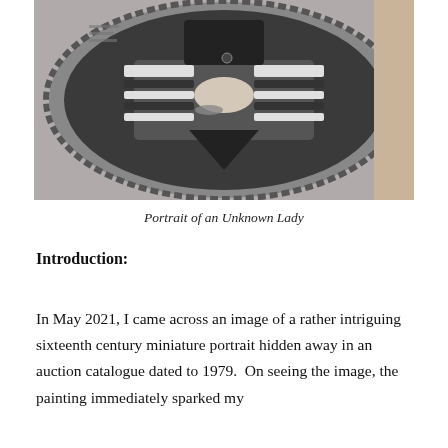[Figure (photo): Black and white close-up photograph of a sixteenth century miniature portrait showing a figure wearing striped clothing with a decorative collar, set within an ornate circular frame with scalloped edges.]
Portrait of an Unknown Lady
Introduction:
In May 2021, I came across an image of a rather intriguing sixteenth century miniature portrait hidden away in an auction catalogue dated to 1979.  On seeing the image, the painting immediately sparked my